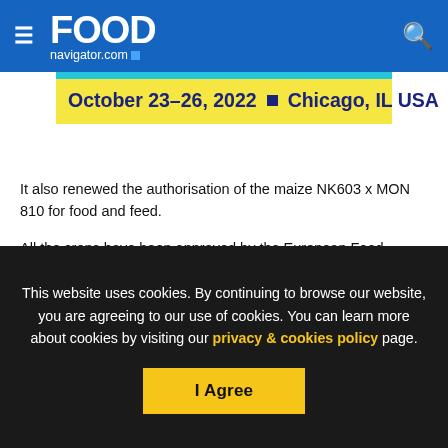FOODnavigator.com
[Figure (infographic): Event banner: October 23-26, 2022 - Chicago, IL USA on yellow background with teal top border]
It also renewed the authorisation of the maize NK603 x MON 810 for food and feed.
All the crops have been approved by the European Food Safety Authority (EFSA).
This website uses cookies. By continuing to browse our website, you are agreeing to our use of cookies. You can learn more about cookies by visiting our privacy & cookies policy page.